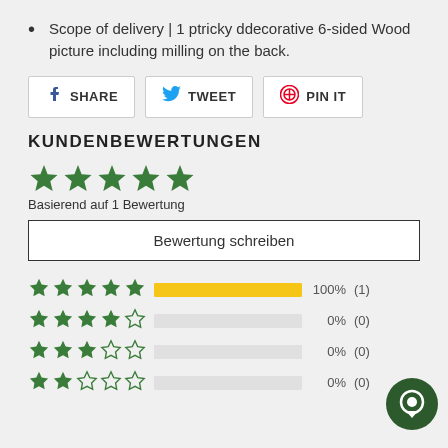Scope of delivery | 1 ptricky ddecorative 6-sided Wood picture including milling on the back.
[Figure (infographic): Social share buttons: Facebook SHARE, Twitter TWEET, Pinterest PIN IT]
KUNDENBEWERTUNGEN
[Figure (infographic): 5 green stars rating]
Basierend auf 1 Bewertung
Bewertung schreiben
[Figure (bar-chart): Star rating distribution]